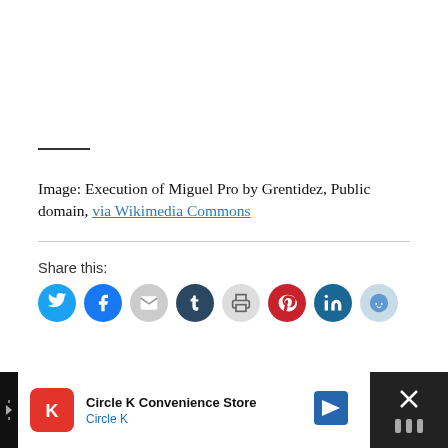Image: Execution of Miguel Pro by Grentidez, Public domain, via Wikimedia Commons
Share this:
[Figure (infographic): Row of social sharing icon buttons: Twitter (blue), Facebook (blue), Email (gray), Tumblr (dark navy), Print (light gray), Pinterest (red), LinkedIn (blue), Reddit (light blue)]
[Figure (infographic): Advertisement bar for Circle K Convenience Store with logo, name, and navigation arrow icon]